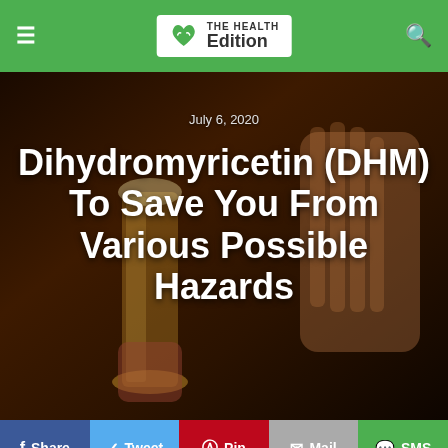THE HEALTH Edition
[Figure (photo): Background photo showing a hand holding a beer glass with another hand raised in a stop gesture, dark bar atmosphere. Overlaid text shows date and article title.]
Dihydromyricetin (DHM) To Save You From Various Possible Hazards
July 6, 2020
For most of the alcohol lovers, there are various related issues and morning recovery is really hard. It is also associated with the hangover that continues confusingly.